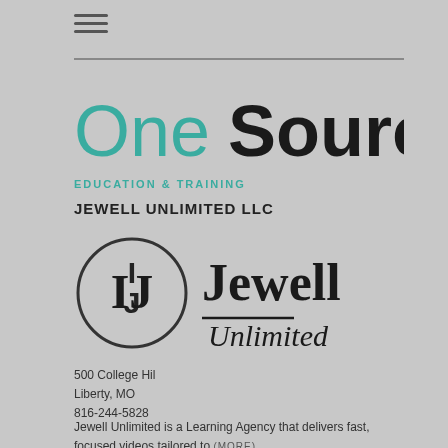[Figure (logo): Hamburger menu icon (three horizontal lines)]
[Figure (logo): OneSource logo — 'One' in teal color and 'Source' in black bold text]
EDUCATION & TRAINING
JEWELL UNLIMITED LLC
[Figure (logo): Jewell Unlimited LLC logo — circular IJ monogram icon with 'Jewell — Unlimited' text in script]
500 College Hil
Liberty, MO
816-244-5828
Jewell Unlimited is a Learning Agency that delivers fast, focused videos tailored to (MORE)